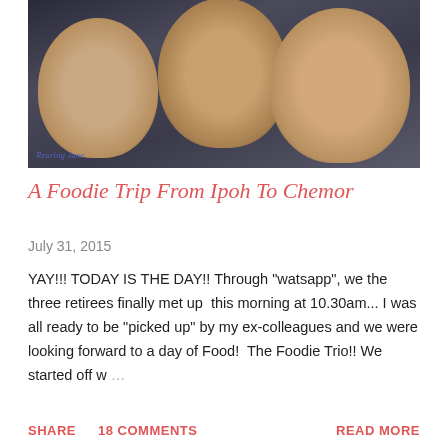[Figure (photo): Selfie photo of three smiling women, taken indoors. A watermark reading 'Rearing Jane' appears in the lower left corner of the photo.]
A Foodie Trip From Ipoh To Chemor
July 31, 2015
YAY!!! TODAY IS THE DAY!! Through "watsapp", we the three retirees finally met up  this morning at 10.30am... I was all ready to be "picked up" by my ex-colleagues and we were looking forward to a day of Food!  The Foodie Trio!! We started off w …
SHARE   18 COMMENTS   READ MORE